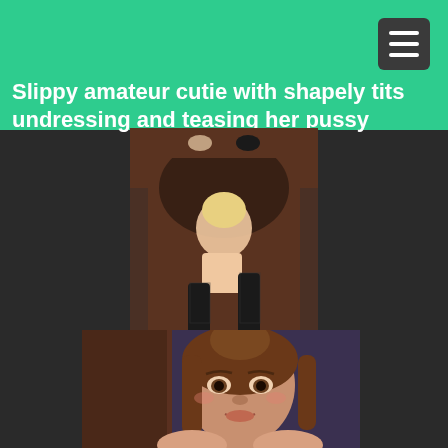Slippy amateur cutie with shapely tits undressing and teasing her pussy
[Figure (illustration): 3D rendered illustration of a blonde figure in black boots and stockings posed against a brick wall background]
[Figure (illustration): 3D rendered close-up illustration of a brunette female character's face and upper torso against a dark interior background]